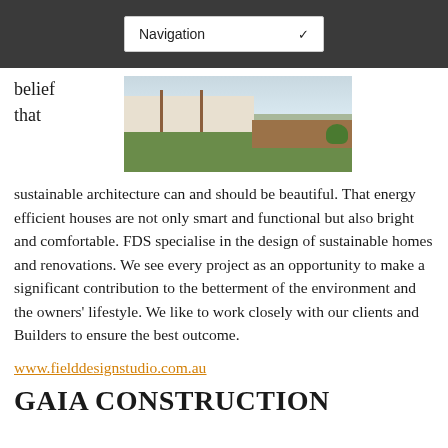Navigation
belief that
[Figure (photo): Exterior photo of a house with white/cream walls, wooden vertical beam supports, green lawn in foreground, and a wooden deck on the right side with shrubs.]
sustainable architecture can and should be beautiful. That energy efficient houses are not only smart and functional but also bright and comfortable. FDS specialise in the design of sustainable homes and renovations. We see every project as an opportunity to make a significant contribution to the betterment of the environment and the owners' lifestyle. We like to work closely with our clients and Builders to ensure the best outcome.
www.fielddesignstudio.com.au
GAIA CONSTRUCTION